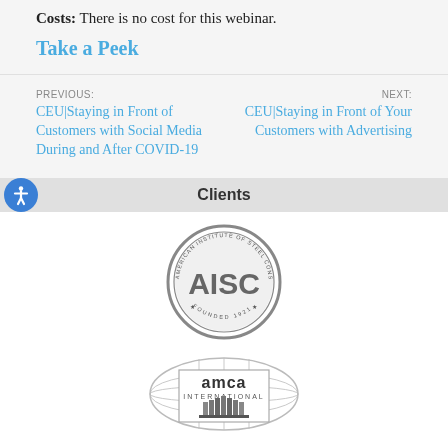Lewis University, Lockport, Illinois.
Costs: There is no cost for this webinar.
Take a Peek
PREVIOUS: CEU|Staying in Front of Customers with Social Media During and After COVID-19
NEXT: CEU|Staying in Front of Your Customers with Advertising
Clients
[Figure (logo): AISC - American Institute of Steel Construction logo, circular gray badge, Founded 1921]
[Figure (logo): AMCA International logo, gray globe oval with building/fan icon]
[Figure (logo): Partial logo at bottom of page, partially cut off]